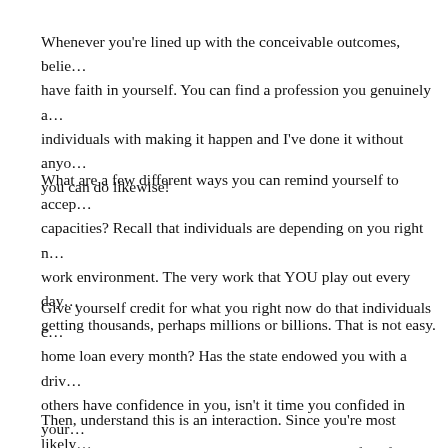Whenever you're lined up with the conceivable outcomes, belie… have faith in yourself. You can find a profession you genuinely … individuals with making it happen and I've done it without any… you can do likewise!
What are a few different ways you can remind yourself to accep… capacities? Recall that individuals are depending on you right n… work environment. The very work that YOU play out every day … getting thousands, perhaps millions or billions. That is not easy.
Give yourself credit for what you right now do that individuals … home loan every month? Has the state endowed you with a driv… others have confidence in you, isn't it time you confided in your… understands what YOU succeed at, and what sort of profession … Have confidence in the options you make. YOU can make it hap…
Then, understand this is an interaction. Since you're most likely … employment to help yourself, you can take the action slowly ass…